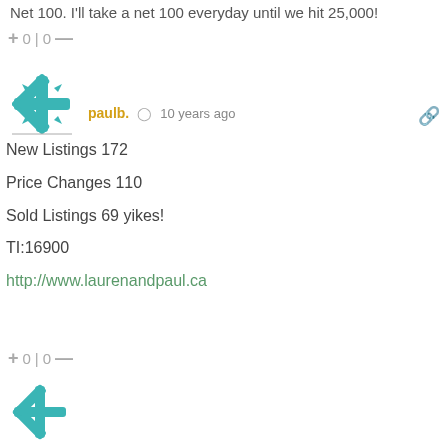Net 100. I'll take a net 100 everyday until we hit 25,000!
+ 0 | 0 —
paulb. 10 years ago
New Listings 172
Price Changes 110
Sold Listings 69 yikes!
TI:16900
http://www.laurenandpaul.ca
+ 0 | 0 —